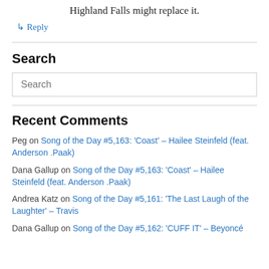Highland Falls might replace it.
↳ Reply
Search
Search
Recent Comments
Peg on Song of the Day #5,163: 'Coast' – Hailee Steinfeld (feat. Anderson .Paak)
Dana Gallup on Song of the Day #5,163: 'Coast' – Hailee Steinfeld (feat. Anderson .Paak)
Andrea Katz on Song of the Day #5,161: 'The Last Laugh of the Laughter' – Travis
Dana Gallup on Song of the Day #5,162: 'CUFF IT' – Beyoncé